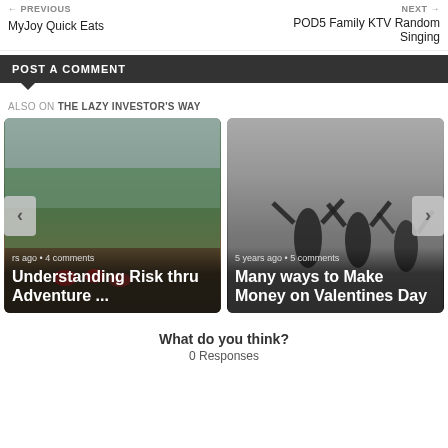← PREVIOUS
MyJoy Quick Eats
NEXT →
POD5 Family KTV Random Singing
POST A COMMENT
ALSO ON THE LAZY INVESTOR'S WAY
[Figure (photo): Outdoor adventure photo with people in helmets on a rope course, green trees in background]
rs ago • 4 comments
Understanding Risk thru Adventure ...
[Figure (photo): Black and white photo of silhouetted people with arms raised]
5 years ago • 5 comments
Many ways to Make Money on Valentines Day
What do you think?
0 Responses